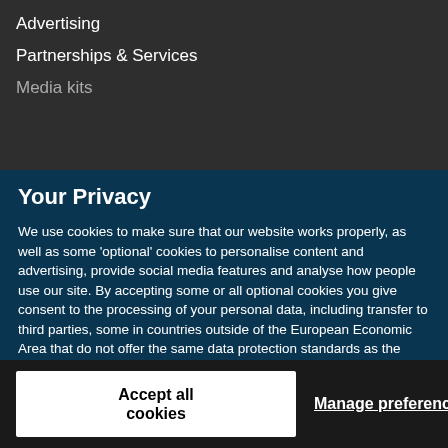Advertising
Partnerships & Services
Media kits
Your Privacy
We use cookies to make sure that our website works properly, as well as some 'optional' cookies to personalise content and advertising, provide social media features and analyse how people use our site. By accepting some or all optional cookies you give consent to the processing of your personal data, including transfer to third parties, some in countries outside of the European Economic Area that do not offer the same data protection standards as the country where you live. You can decide which optional cookies to accept by clicking on 'Manage Settings', where you can also find more information about how your personal data is processed. Further information can be found in our privacy policy.
Accept all cookies
Manage preferences